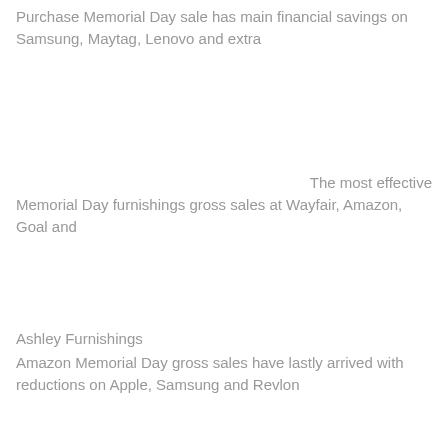Purchase Memorial Day sale has main financial savings on Samsung, Maytag, Lenovo and extra
The most effective Memorial Day furnishings gross sales at Wayfair, Amazon, Goal and
Ashley Furnishings
Amazon Memorial Day gross sales have lastly arrived with reductions on Apple, Samsung and Revlon